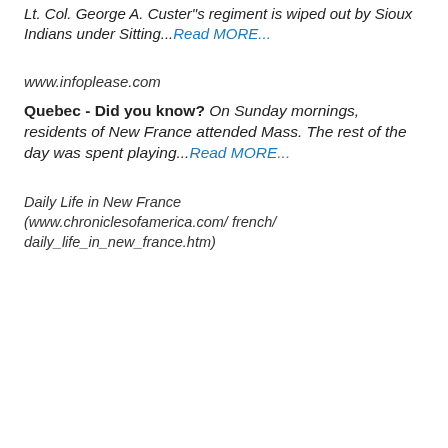Lt. Col. George A. Custer"s regiment is wiped out by Sioux Indians under Sitting...Read MORE...
www.infoplease.com
Quebec - Did you know? On Sunday mornings, residents of New France attended Mass. The rest of the day was spent playing...Read MORE...
Daily Life in New France (www.chroniclesofamerica.com/ french/ daily_life_in_new_france.htm)